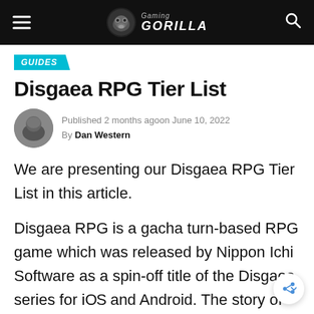Gaming Gorilla
GUIDES
Disgaea RPG Tier List
Published 2 months agoon June 10, 2022
By Dan Western
We are presenting our Disgaea RPG Tier List in this article.
Disgaea RPG is a gacha turn-based RPG game which was released by Nippon Ichi Software as a spin-off title of the Disgaea series for iOS and Android. The story of the game takes